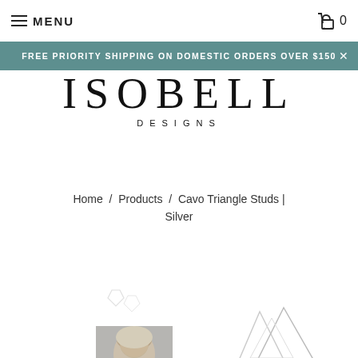MENU
FREE PRIORITY SHIPPING ON DOMESTIC ORDERS OVER $150
ISOBELL DESIGNS
Home / Products / Cavo Triangle Studs | Silver
[Figure (photo): Thumbnail image of a woman wearing silver triangle stud earrings]
[Figure (illustration): Silver triangle stud earring product illustration outline]